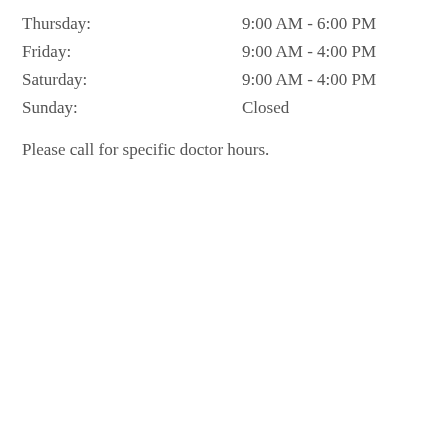Thursday: 9:00 AM - 6:00 PM
Friday: 9:00 AM - 4:00 PM
Saturday: 9:00 AM - 4:00 PM
Sunday: Closed
Please call for specific doctor hours.